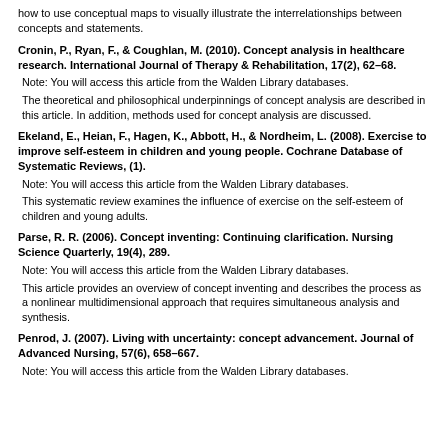how to use conceptual maps to visually illustrate the interrelationships between concepts and statements.
Cronin, P., Ryan, F., & Coughlan, M. (2010). Concept analysis in healthcare research. International Journal of Therapy & Rehabilitation, 17(2), 62–68.
Note: You will access this article from the Walden Library databases.
The theoretical and philosophical underpinnings of concept analysis are described in this article. In addition, methods used for concept analysis are discussed.
Ekeland, E., Heian, F., Hagen, K., Abbott, H., & Nordheim, L. (2008). Exercise to improve self-esteem in children and young people. Cochrane Database of Systematic Reviews, (1).
Note: You will access this article from the Walden Library databases.
This systematic review examines the influence of exercise on the self-esteem of children and young adults.
Parse, R. R. (2006). Concept inventing: Continuing clarification. Nursing Science Quarterly, 19(4), 289.
Note: You will access this article from the Walden Library databases.
This article provides an overview of concept inventing and describes the process as a nonlinear multidimensional approach that requires simultaneous analysis and synthesis.
Penrod, J. (2007). Living with uncertainty: concept advancement. Journal of Advanced Nursing, 57(6), 658–667.
Note: You will access this article from the Walden Library databases.